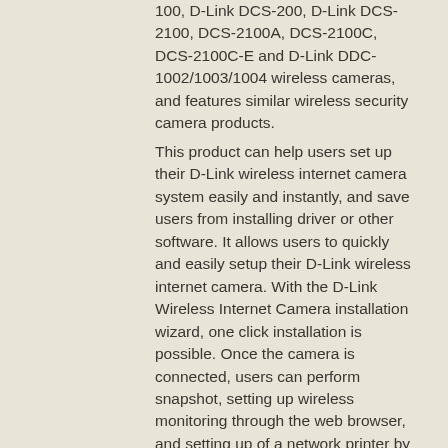100, D-Link DCS-200, D-Link DCS-2100, DCS-2100A, DCS-2100C, DCS-2100C-E and D-Link DDC-1002/1003/1004 wireless cameras, and features similar wireless security camera products.
This product can help users set up their D-Link wireless internet camera system easily and instantly, and save users from installing driver or other software. It allows users to quickly and easily setup their D-Link wireless internet camera. With the D-Link Wireless Internet Camera installation wizard, one click installation is possible. Once the camera is connected, users can perform snapshot, setting up wireless monitoring through the web browser, and setting up of a network printer by using its IP address.
D-Link DCS-2100G Camera Installation Wizard screenshots:
Key features:
4x digital zoom
Sensitivity to low light